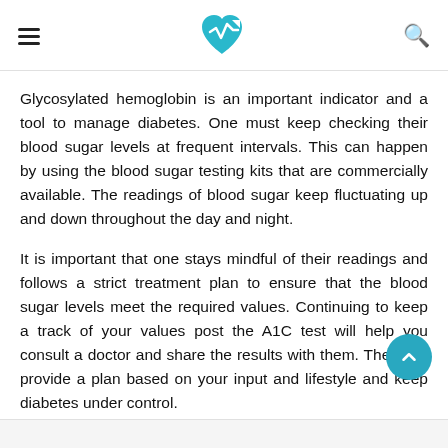Health tracker app header with hamburger menu, heart-rate logo, and search icon
Glycosylated hemoglobin is an important indicator and a tool to manage diabetes. One must keep checking their blood sugar levels at frequent intervals. This can happen by using the blood sugar testing kits that are commercially available. The readings of blood sugar keep fluctuating up and down throughout the day and night.
It is important that one stays mindful of their readings and follows a strict treatment plan to ensure that the blood sugar levels meet the required values. Continuing to keep a track of your values post the A1C test will help you consult a doctor and share the results with them. They can provide a plan based on your input and lifestyle and keep diabetes under control.